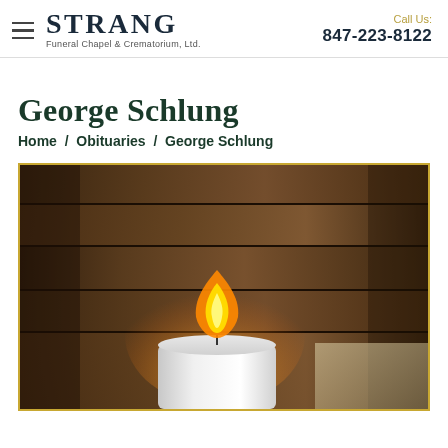STRANG Funeral Chapel & Crematorium, Ltd. | Call Us: 847-223-8122
George Schlung
Home / Obituaries / George Schlung
[Figure (photo): Close-up photograph of a white pillar candle with a flame burning against a dark brown wooden background]